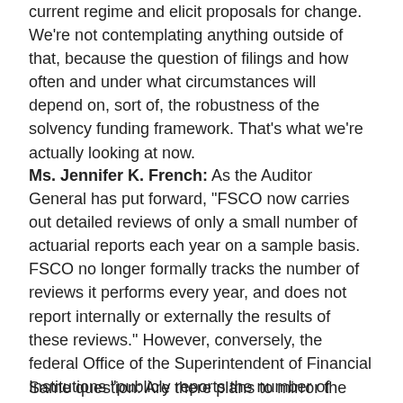current regime and elicit proposals for change. We're not contemplating anything outside of that, because the question of filings and how often and under what circumstances will depend on, sort of, the robustness of the solvency funding framework. That's what we're actually looking at now.
Ms. Jennifer K. French: As the Auditor General has put forward, "FSCO now carries out detailed reviews of only a small number of actuarial reports each year on a sample basis. FSCO no longer formally tracks the number of reviews it performs every year, and does not report internally or externally the results of these reviews." However, conversely, the federal Office of the Superintendent of Financial Institutions "publicly reports the number of detailed actuarial valuation reviews completed yearly, as well as their observations from the reviews."
Same question: Are there plans to mirror the federal practice?